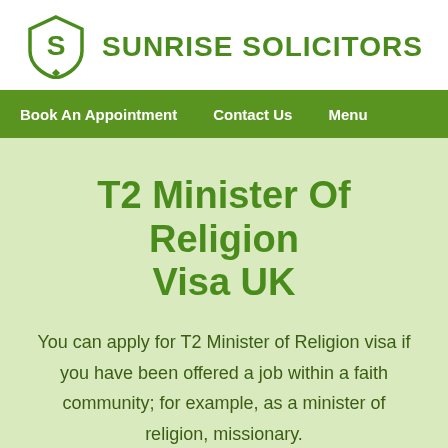[Figure (logo): Sunrise Solicitors logo — green shield with letter S and diamond, next to bold green text SUNRISE SOLICITORS]
Book An Appointment   Contact Us   Menu
T2 Minister Of Religion Visa UK
You can apply for T2 Minister of Religion visa if you have been offered a job within a faith community; for example, as a minister of religion, missionary.
^ Contact Us  ✉ Leave a message